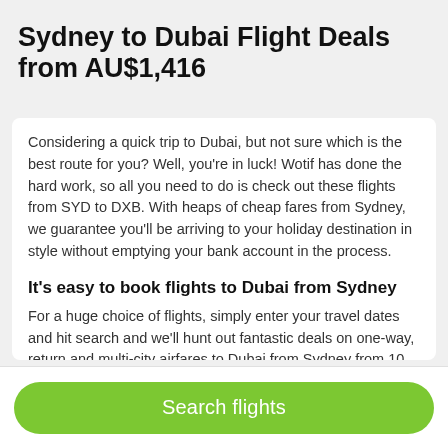Sydney to Dubai Flight Deals from AU$1,416
Considering a quick trip to Dubai, but not sure which is the best route for you? Well, you're in luck! Wotif has done the hard work, so all you need to do is check out these flights from SYD to DXB. With heaps of cheap fares from Sydney, we guarantee you'll be arriving to your holiday destination in style without emptying your bank account in the process.
It's easy to book flights to Dubai from Sydney
For a huge choice of flights, simply enter your travel dates and hit search and we'll hunt out fantastic deals on one-way, return and multi-city airfares to Dubai from Sydney from 10 different airlines. If you click the 'direct flights' box, you see flights that'll get you to Dubai in just 14 hour(s) and 10 mins, too.
Search flights